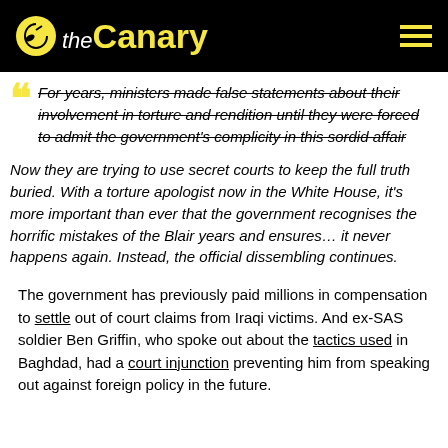the Canary
For years, ministers made false statements about their involvement in torture and rendition until they were forced to admit the government's complicity in this sordid affair
Now they are trying to use secret courts to keep the full truth buried. With a torture apologist now in the White House, it's more important than ever that the government recognises the horrific mistakes of the Blair years and ensures… it never happens again. Instead, the official dissembling continues.
The government has previously paid millions in compensation to settle out of court claims from Iraqi victims. And ex-SAS soldier Ben Griffin, who spoke out about the tactics used in Baghdad, had a court injunction preventing him from speaking out against foreign policy in the future.